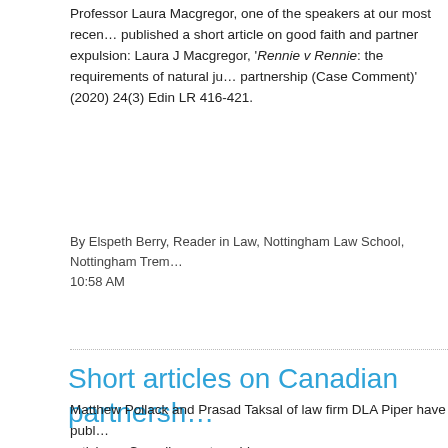Professor Laura Macgregor, one of the speakers at our most recent published a short article on good faith and partner expulsion: Laura J Macgregor, 'Rennie v Rennie: the requirements of natural ju partnership (Case Comment)' (2020) 24(3) Edin LR 416-421.
By Elspeth Berry, Reader in Law, Nottingham Law School, Nottingham Tren 10:58 AM
Short articles on Canadian partnersh
Matthew Pollack and Prasad Taksal of law firm DLA Piper have publ article on Canadian partnerships:
'Partnerships: what, how and when' -vailable at
https://www.dlapiper.com/en/us/insights/publications/2020/08/types-
'Partnership agreements: A primer' - available at:
https://www.dlapiper.com/en/canada/insights/publications/2020/08/n